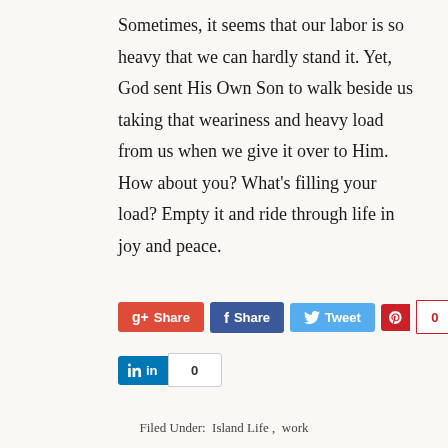Sometimes, it seems that our labor is so heavy that we can hardly stand it. Yet, God sent His Own Son to walk beside us taking that weariness and heavy load from us when we give it over to Him. How about you? What’s filling your load? Empty it and ride through life in joy and peace.
[Figure (infographic): Social sharing buttons: Google+ Share (red), Facebook Share (dark blue), Twitter Tweet (light blue), Pinterest with count 0, LinkedIn with count 0]
Filed Under:  Island Life ,  work